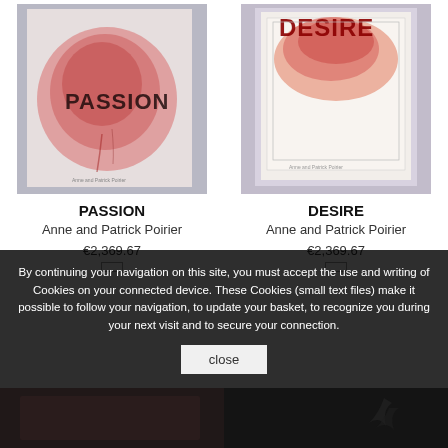[Figure (photo): Artwork photo for PASSION by Anne and Patrick Poirier — abstract red/pink wash with burnt text 'PASSION' on white paper]
PASSION
Anne and Patrick Poirier
€2,369.67
[Figure (photo): Artwork photo for DESIRE by Anne and Patrick Poirier — abstract red watercolor wash with text 'DESIRE' at top, framed]
DESIRE
Anne and Patrick Poirier
€2,369.67
By continuing your navigation on this site, you must accept the use and writing of Cookies on your connected device. These Cookies (small text files) make it possible to follow your navigation, to update your basket, to recognize you during your next visit and to secure your connection.
close